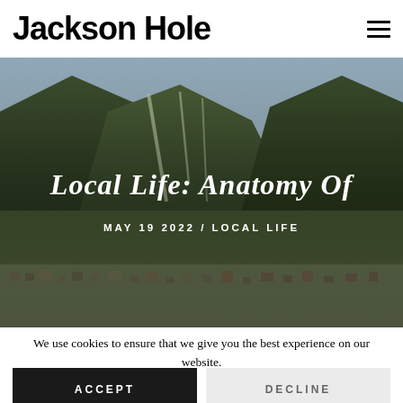Jackson Hole
[Figure (photo): Aerial/elevated view of Jackson Hole valley with forested mountains in the background showing ski runs, and the town of Jackson visible in the foreground. Overlaid text reads 'Local Life: Anatomy Of' and 'MAY 19 2022 / LOCAL LIFE'.]
Local Life: Anatomy Of
MAY 19 2022 / LOCAL LIFE
We use cookies to ensure that we give you the best experience on our website.
ACCEPT
DECLINE